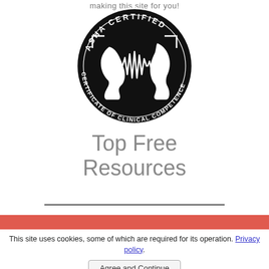making this site for you!
[Figure (logo): ASHA Certified Certificate of Clinical Competence circular logo — black circle with two face silhouettes and sound wave graphic, text around the border reading ASHA CERTIFIED and CERTIFICATE OF CLINICAL COMPETENCE]
Top Free Resources
This site uses cookies, some of which are required for its operation. Privacy policy.
Agree and Continue